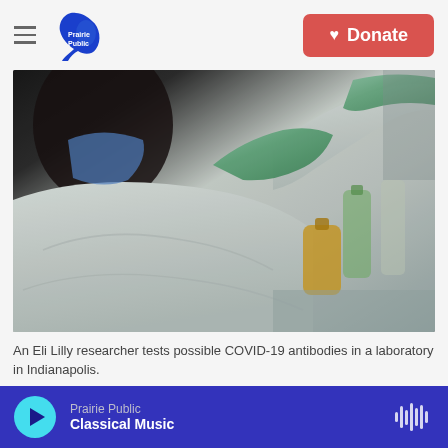Prairie Public — Donate
[Figure (photo): An Eli Lilly researcher in a white lab suit and blue mask wearing teal gloves, handling laboratory flasks and bottles containing yellow-green liquid in a laboratory setting.]
An Eli Lilly researcher tests possible COVID-19 antibodies in a laboratory in Indianapolis.
Eli Lilly has struck a deal with the federal
Prairie Public — Classical Music (player bar)